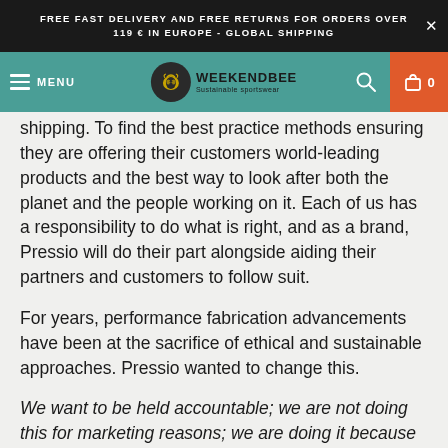FREE FAST DELIVERY AND FREE RETURNS FOR ORDERS OVER 119 € IN EUROPE - GLOBAL SHIPPING
[Figure (screenshot): Weekendbee sustainable sportswear navigation bar with teal background, hamburger menu, bee logo, search icon, and orange cart icon showing 0]
shipping. To find the best practice methods ensuring they are offering their customers world-leading products and the best way to look after both the planet and the people working on it. Each of us has a responsibility to do what is right, and as a brand, Pressio will do their part alongside aiding their partners and customers to follow suit.
For years, performance fabrication advancements have been at the sacrifice of ethical and sustainable approaches. Pressio wanted to change this.
We want to be held accountable; we are not doing this for marketing reasons; we are doing it because we know it is the right thing to do. You are not only our customers but partners on this journey to leaving our planet to our children, in a better place than how we inherited it.